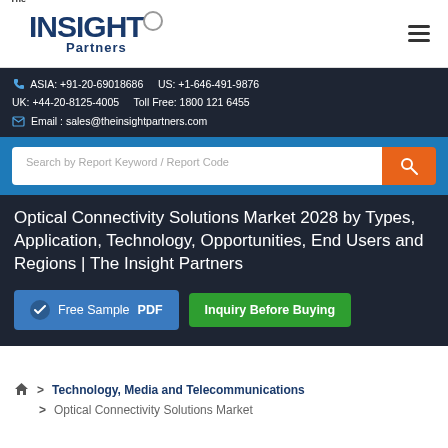[Figure (logo): The Insight Partners logo with stylized text and circle]
ASIA: +91-20-69018686   US: +1-646-491-9876
UK: +44-20-8125-4005   Toll Free: 1800 121 6455
Email : sales@theinsightpartners.com
Search by Report Keyword / Report Code
Optical Connectivity Solutions Market 2028 by Types, Application, Technology, Opportunities, End Users and Regions | The Insight Partners
Free Sample PDF
Inquiry Before Buying
> Technology, Media and Telecommunications
> Optical Connectivity Solutions Market